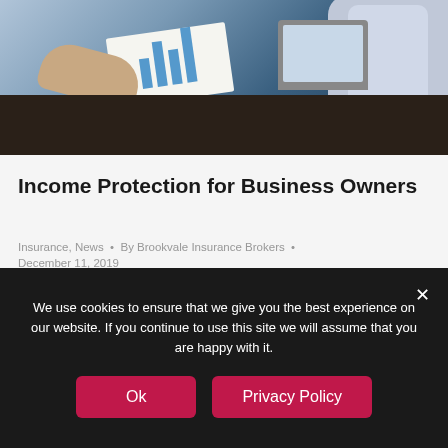[Figure (photo): Business meeting scene with people at a desk, charts visible on paper, laptop in background]
Income Protection for Business Owners
Insurance, News • By Brookvale Insurance Brokers • December 11, 2019
All business owners have a lot of challenges, but many fail to contemplate what might happen if their business is suddenly unable to trade. From illness or injury to a fire at your supplier's warehouse, there are many ways that your profit generation could be suddenly halted. While there are many rewards to being a
We use cookies to ensure that we give you the best experience on our website. If you continue to use this site we will assume that you are happy with it.